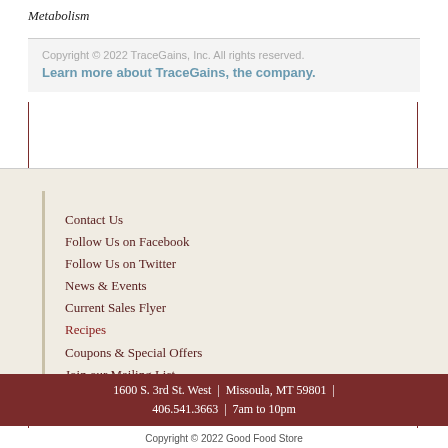Metabolism
Copyright © 2022 TraceGains, Inc. All rights reserved.
Learn more about TraceGains, the company.
Contact Us
Follow Us on Facebook
Follow Us on Twitter
News & Events
Current Sales Flyer
Recipes
Coupons & Special Offers
Join our Mailing List
1600 S. 3rd St. West | Missoula, MT 59801 | 406.541.3663 | 7am to 10pm
Copyright © 2022 Good Food Store